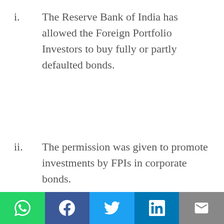i. The Reserve Bank of India has allowed the Foreign Portfolio Investors to buy fully or partly defaulted bonds.
ii. The permission was given to promote investments by FPIs in corporate bonds.